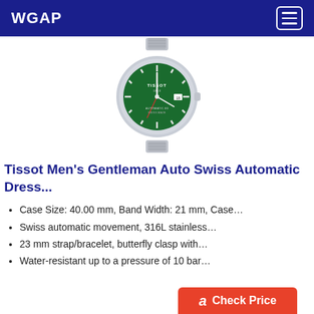WGAP
[Figure (photo): A Tissot Men's Gentleman automatic watch with a green dial and silver stainless steel bracelet band, shown from front angle.]
Tissot Men's Gentleman Auto Swiss Automatic Dress...
Case Size: 40.00 mm, Band Width: 21 mm, Case…
Swiss automatic movement, 316L stainless…
23 mm strap/bracelet, butterfly clasp with…
Water-resistant up to a pressure of 10 bar…